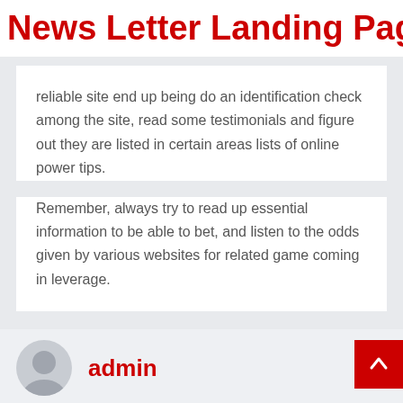News Letter Landing Pag
reliable site end up being do an identification check among the site, read some testimonials and figure out they are listed in certain areas lists of online power tips.
Remember, always try to read up essential information to be able to bet, and listen to the odds given by various websites for related game coming in leverage.
admin